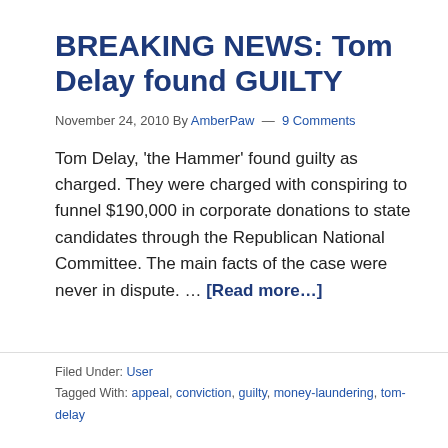BREAKING NEWS: Tom Delay found GUILTY
November 24, 2010 By AmberPaw — 9 Comments
Tom Delay, 'the Hammer' found guilty as charged. They were charged with conspiring to funnel $190,000 in corporate donations to state candidates through the Republican National Committee. The main facts of the case were never in dispute. … [Read more...]
Filed Under: User
Tagged With: appeal, conviction, guilty, money-laundering, tom-delay